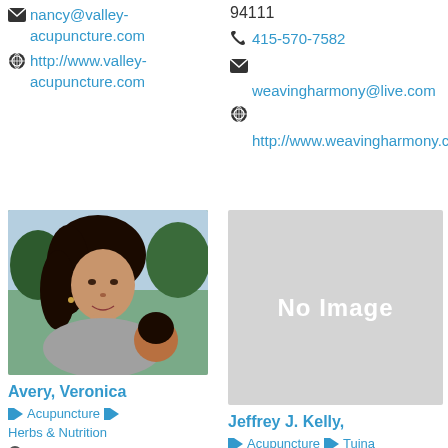nancy@valley-acupuncture.com
http://www.valley-acupuncture.com
94111
415-570-7582
weavingharmony@live.com
http://www.weavingharmony.com
[Figure (photo): Photo of Veronica Avery, a woman with curly dark hair holding a child outdoors]
Avery, Veronica
Acupuncture  Herbs & Nutrition
522-C Broadway Street
[Figure (photo): No Image placeholder, gray rectangle]
Jeffrey J. Kelly,
Acupuncture  Tuina